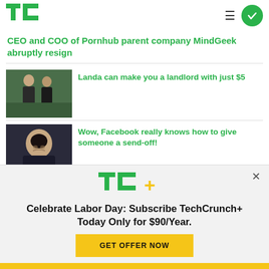TechCrunch
CEO and COO of Pornhub parent company MindGeek abruptly resign
[Figure (photo): Two men standing outdoors in front of green foliage, wearing dark t-shirts]
Landa can make you a landlord with just $5
[Figure (photo): Woman with dark hair, eyes closed, wearing a dark jacket]
Wow, Facebook really knows how to give someone a send-off!
[Figure (infographic): TC+ subscription popup banner with TechCrunch+ logo, headline about Labor Day subscription offer for $90/Year, and a yellow GET OFFER NOW button]